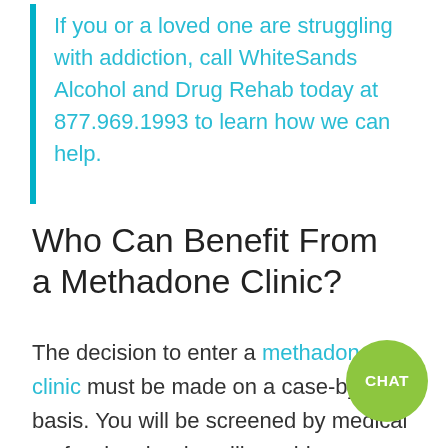If you or a loved one are struggling with addiction, call WhiteSands Alcohol and Drug Rehab today at 877.969.1993 to learn how we can help.
Who Can Benefit From a Methadone Clinic?
The decision to enter a methadone clinic must be made on a case-by-case basis. You will be screened by medical professionals who will provide an evaluation to see if are a good candidate for the program.